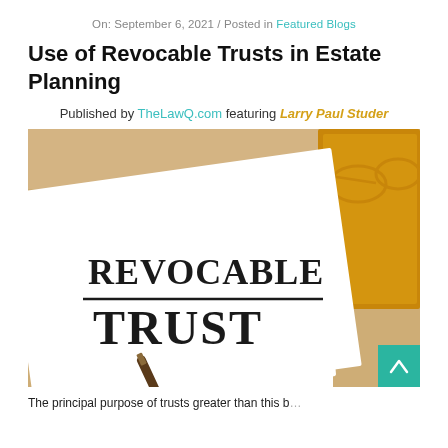On: September 6, 2021 / Posted in Featured Blogs
Use of Revocable Trusts in Estate Planning
Published by TheLawQ.com featuring Larry Paul Studer
[Figure (photo): A white document titled REVOCABLE TRUST on a wooden desk with a fountain pen, eyeglasses, and a folder in the background. A teal scroll-to-top button appears in the bottom right corner.]
The principal purpose of trusts greater than this b...